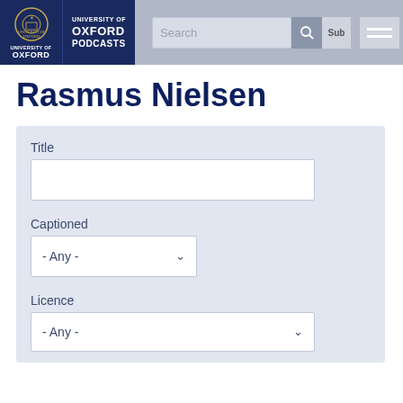[Figure (screenshot): University of Oxford Podcasts website header with logo, search bar, and hamburger menu]
Rasmus Nielsen
Title
Captioned
- Any -
Licence
- Any -